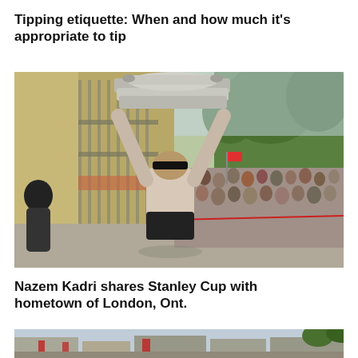Tipping etiquette: When and how much it's appropriate to tip
[Figure (photo): A man lifting the Stanley Cup trophy above his head with both arms raised, smiling, in front of a large crowd of people gathered outdoors on a sunny day near a brick building with trees in the background.]
Nazem Kadri shares Stanley Cup with hometown of London, Ont.
[Figure (photo): Partial view of an outdoor urban scene with buildings, banners, and people visible at the bottom of the page.]